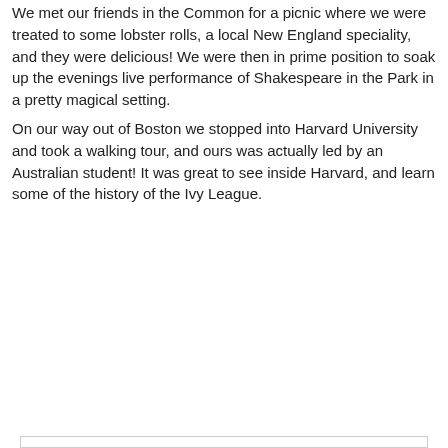We met our friends in the Common for a picnic where we were treated to some lobster rolls, a local New England speciality, and they were delicious! We were then in prime position to soak up the evenings live performance of Shakespeare in the Park in a pretty magical setting.
On our way out of Boston we stopped into Harvard University and took a walking tour, and ours was actually led by an Australian student! It was great to see inside Harvard, and learn some of the history of the Ivy League.
[Figure (photo): A 2x2 grid of photos showing: top-left: people at an outdoor picnic/concert in a park with a stage; top-right: the Cheers bar sign reading 'Cheers EST. 1895'; bottom-left: Harvard University brick buildings with trees; bottom-right: Caffe Lil Italy storefront with green awnings.]